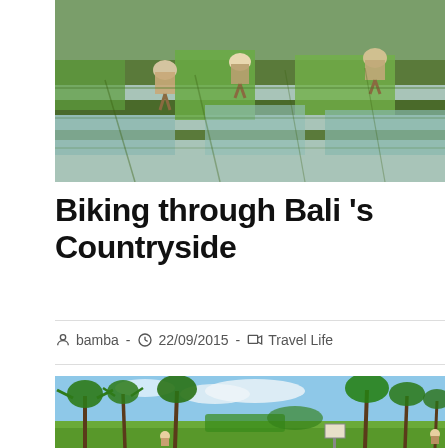[Figure (photo): Farmers planting rice in flooded terraced paddies, Bali countryside. Workers bent over in shallow water with green rice shoots and reflections visible.]
Biking through Bali 's Countryside
bamba - 22/09/2015 - Travel Life
[Figure (photo): Bali countryside landscape with tall palm trees and tropical vegetation. People visible in green rice fields in the foreground under a blue sky with clouds.]